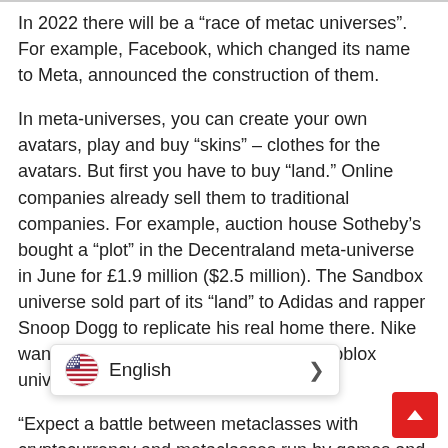In 2022 there will be a “race of metac universes”. For example, Facebook, which changed its name to Meta, announced the construction of them.
In meta-universes, you can create your own avatars, play and buy “skins” – clothes for the avatars. But first you have to buy “land.” Online companies already sell them to traditional companies. For example, auction house Sotheby’s bought a “plot” in the Decentraland meta-universe in June for £1.9 million ($2.5 million). The Sandbox universe sold part of its “land” to Adidas and rapper Snoop Dogg to replicate his real home there. Nike wants to build a Nikeland world in the Roblox universe.
“Expect a battle between metaclasses with cryptocurrency and metaclasses run by games and corporations like M n chairman Brock Pierce told Business Insider.